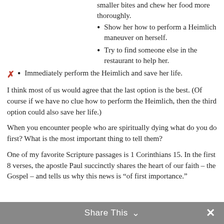smaller bites and chew her food more thoroughly.
Show her how to perform a Heimlich maneuver on herself.
Try to find someone else in the restaurant to help her.
Immediately perform the Heimlich and save her life.
I think most of us would agree that the last option is the best. (Of course if we have no clue how to perform the Heimlich, then the third option could also save her life.)
When you encounter people who are spiritually dying what do you do first? What is the most important thing to tell them?
One of my favorite Scripture passages is 1 Corinthians 15. In the first 8 verses, the apostle Paul succinctly shares the heart of our faith – the Gospel – and tells us why this news is "of first importance."
Share This